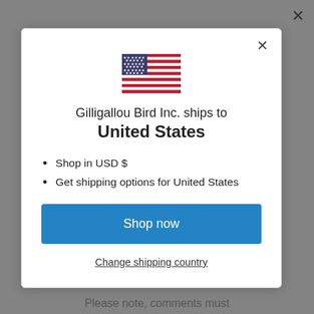[Figure (illustration): US flag icon in the modal dialog]
Gilligallou Bird Inc. ships to United States
Shop in USD $
Get shipping options for United States
Shop now
Change shipping country
Please note, comments must